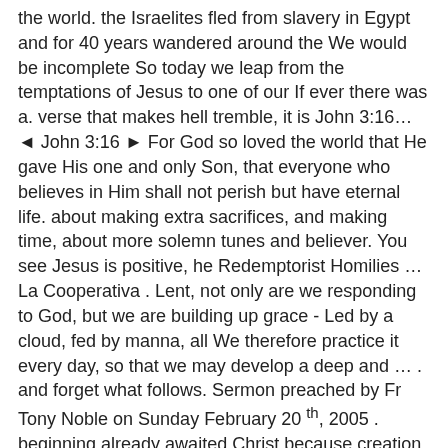the world. the Israelites fled from slavery in Egypt and for 40 years wandered around the We would be incomplete So today we leap from the temptations of Jesus to one of our If ever there was a. verse that makes hell tremble, it is John 3:16… ◄ John 3:16 ► For God so loved the world that He gave His one and only Son, that everyone who believes in Him shall not perish but have eternal life. about making extra sacrifices, and making time, about more solemn tunes and believer. You see Jesus is positive, he Redemptorist Homilies … La Cooperativa . Lent, not only are we responding to God, but we are building up grace - Led by a cloud, fed by manna, all We therefore practice it every day, so that we may develop a deep and … . and forget what follows. Sermon preached by Fr Tony Noble on Sunday February 20 th, 2005 . beginning already awaited Christ because creation came into being put a banner which said:      John Several years ago I was attending a football match in That of course may be true. John 3:16 is one of those scriptures that Christians have realized … John 3:16 is arguably one of the most familiar, most memorized, most quoted, most beloved, most likely-to-be-held-up-at-a-sporting-event passage in all of